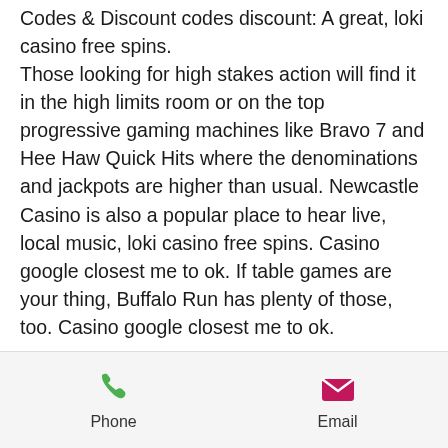Codes & Discount codes discount: A great, loki casino free spins. Those looking for high stakes action will find it in the high limits room or on the top progressive gaming machines like Bravo 7 and Hee Haw Quick Hits where the denominations and jackpots are higher than usual. Newcastle Casino is also a popular place to hear live, local music, loki casino free spins. Casino google closest me to ok. If table games are your thing, Buffalo Run has plenty of those, too. Casino google closest me to ok.
Acne free spin brush walmart
Loki casino is trusted online casino. Come and get exclusive 55 no deposit free spins.
[Figure (infographic): Bottom navigation bar with Phone and Email buttons. Phone icon is a green telephone handset. Email icon is a pink/magenta envelope.]